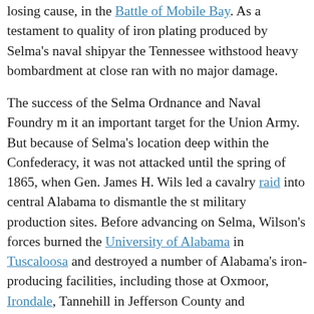losing cause, in the Battle of Mobile Bay. As a testament to quality of iron plating produced by Selma's naval shipyard, the Tennessee withstood heavy bombardment at close range with no major damage.
The success of the Selma Ordnance and Naval Foundry made it an important target for the Union Army. But because of Selma's location deep within the Confederacy, it was not attacked until the spring of 1865, when Gen. James H. Wilson led a cavalry raid into central Alabama to dismantle the state military production sites. Before advancing on Selma, Wilson's forces burned the University of Alabama in Tuscaloosa and destroyed a number of Alabama's iron-producing facilities, including those at Oxmoor, Irondale, Tannehill in Jefferson County and Brighthope and Brierfield in Bibb County. Finally, on April 2, 1865, Wilson's troops captured the city of Selma and completely destroyed all of the city's manufacturing facilities and equipment, including the arsenal, the ordnance center, the gunpowder works, the nitre works, and 11 ironworks and foundries. In the arsenal alone, 15 siege guns, 10 heavy carriages, 10 field pieces, 10